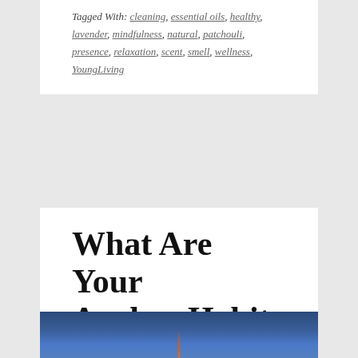Tagged With: cleaning, essential oils, healthy, lavender, mindfulness, natural, patchouli, presence, relaxation, scent, smell, wellness, YoungLiving
What Are Your Anchor Habits and Why Do You Need Them?
2013-06-25 By MONICA — 3 Comments
[Figure (photo): Partial photo of a blue sky with what appears to be a tall mast or antenna visible at the bottom center]